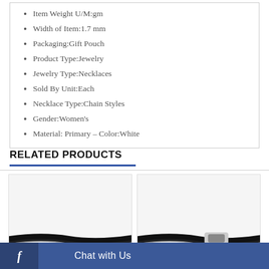Item Weight U/M:gm
Width of Item:1.7 mm
Packaging:Gift Pouch
Product Type:Jewelry
Jewelry Type:Necklaces
Sold By Unit:Each
Necklace Type:Chain Styles
Gender:Women's
Material: Primary – Color:White
RELATED PRODUCTS
[Figure (photo): Product image of a black necklace cord, left card]
[Figure (photo): Product image of a black necklace cord with silver clasp, right card]